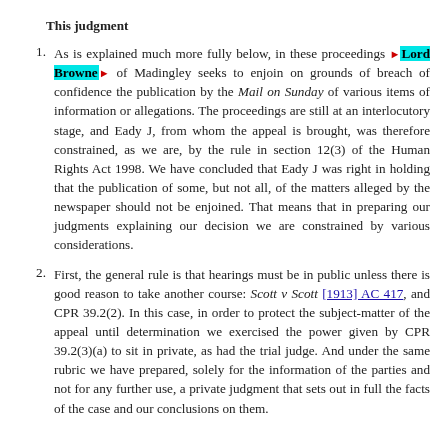This judgment
As is explained much more fully below, in these proceedings Lord Browne of Madingley seeks to enjoin on grounds of breach of confidence the publication by the Mail on Sunday of various items of information or allegations. The proceedings are still at an interlocutory stage, and Eady J, from whom the appeal is brought, was therefore constrained, as we are, by the rule in section 12(3) of the Human Rights Act 1998. We have concluded that Eady J was right in holding that the publication of some, but not all, of the matters alleged by the newspaper should not be enjoined. That means that in preparing our judgments explaining our decision we are constrained by various considerations.
First, the general rule is that hearings must be in public unless there is good reason to take another course: Scott v Scott [1913] AC 417, and CPR 39.2(2). In this case, in order to protect the subject-matter of the appeal until determination we exercised the power given by CPR 39.2(3)(a) to sit in private, as had the trial judge. And under the same rubric we have prepared, solely for the information of the parties and not for any further use, a private judgment that sets out in full the facts of the case and our conclusions on them.